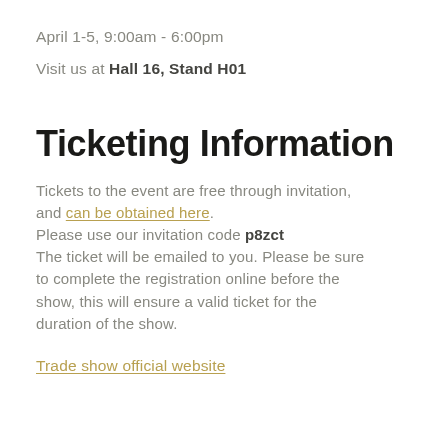April 1-5, 9:00am - 6:00pm
Visit us at Hall 16, Stand H01
Ticketing Information
Tickets to the event are free through invitation, and can be obtained here.
Please use our invitation code p8zct
The ticket will be emailed to you. Please be sure to complete the registration online before the show, this will ensure a valid ticket for the duration of the show.
Trade show official website